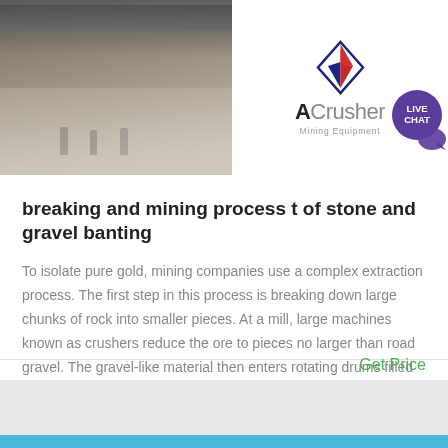[Figure (photo): Industrial facility interior showing large open floor with people walking, machinery overhead, and reflective floor surface. ACrusher Mining Equipment logo overlay on right side with Live Chat bubble.]
breaking and mining process t of stone and gravel banting
To isolate pure gold, mining companies use a complex extraction process. The first step in this process is breaking down large chunks of rock into smaller pieces. At a mill, large machines known as crushers reduce the ore to pieces no larger than road gravel. The gravel-like material then enters rotating drums filled with steel balls. Get price
Get Price